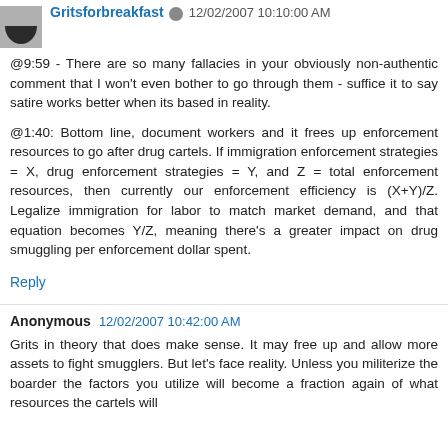Gritsforbreakfast 12/02/2007 10:10:00 AM
@9:59 - There are so many fallacies in your obviously non-authentic comment that I won't even bother to go through them - suffice it to say satire works better when its based in reality.
@1:40: Bottom line, document workers and it frees up enforcement resources to go after drug cartels. If immigration enforcement strategies = X, drug enforcement strategies = Y, and Z = total enforcement resources, then currently our enforcement efficiency is (X+Y)/Z. Legalize immigration for labor to match market demand, and that equation becomes Y/Z, meaning there's a greater impact on drug smuggling per enforcement dollar spent.
Reply
Anonymous  12/02/2007 10:42:00 AM
Grits in theory that does make sense. It may free up and allow more assets to fight smugglers. But let's face reality. Unless you militerize the boarder the factors you utilize will become a fraction again of what resources the cartels will